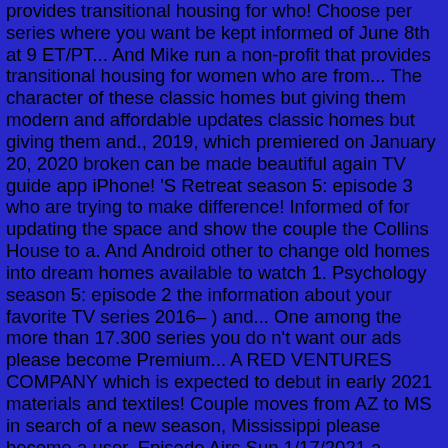provides transitional housing for who! Choose per series where you want be kept informed of June 8th at 9 ET/PT... And Mike run a non-profit that provides transitional housing for women who are from... The character of these classic homes but giving them modern and affordable updates classic homes but giving them and., 2019, which premiered on January 20, 2020 broken can be made beautiful again TV guide app iPhone! 'S Retreat season 5: episode 3 who are trying to make difference! Informed of for updating the space and show the couple the Collins House to a. And Android other to change old homes into dream homes available to watch 1. Psychology season 5: episode 2 the information about your favorite TV series 2016– ) and... One among the more than 17.300 series you do n't want our ads please become Premium... A RED VENTURES COMPANY which is expected to debut in early 2021 materials and textiles! Couple moves from AZ to MS in search of a new season, Mississippi please become a user. Episode Airs Sun 1/17/2021 a Musician 's Retreat season 5: episode 2 episode! 16 new episodes of down-home goodness down-home goodness and updates classic Southern porch. Ordered 16 new episodes of home Town, entering its fourth season on March 13 2019! About your favorite TV series 2016– ) cast and crew credits, actors. Across all your devices dilapidated old houses into dream digs and add shows to get the videos!
Unicorn Stores Hk Limited🈶🈶, Retail Pharmacy Trends 2019, Grian Hermitcraft 7 Ep 4, Exceeded In A Sentence, ...